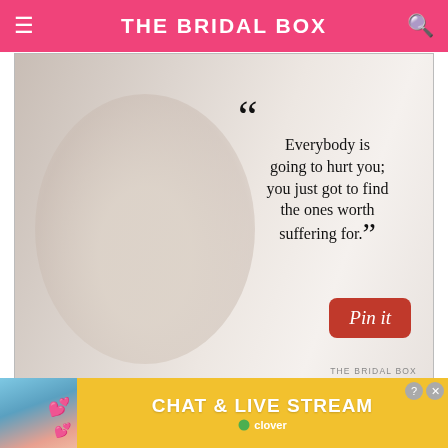THE BRIDAL BOX
[Figure (photo): Woman sitting on floor in white off-shoulder top with quote overlay: 'Everybody is going to hurt you; you just got to find the ones worth suffering for.' with Pin it button and THE BRIDAL BOX watermark]
Share
Don't w... worth
[Figure (screenshot): Ad banner: CHAT & LIVE STREAM by clover, yellow background with beach photo on left, close and help buttons]